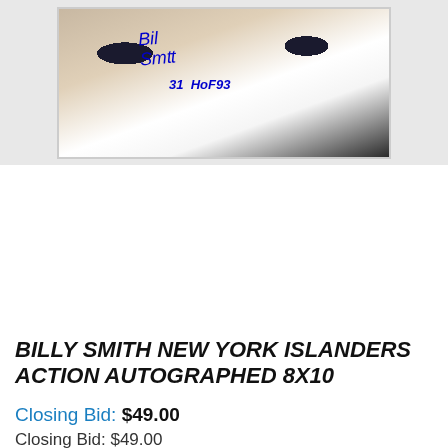[Figure (photo): Autographed 8x10 photo of Billy Smith, New York Islanders goalie, in action. Blue ink signature reads 'Billy Smith 31 HOF93' overlaid on the photo.]
BILLY SMITH NEW YORK ISLANDERS ACTION AUTOGRAPHED 8X10
Closing Bid: $49.00
Closing Bid: $49.00
Add to Watch list
| NUMBER OF BIDS: | 1 (Bid History) |
| BID INCREMENT: | $1.00 |